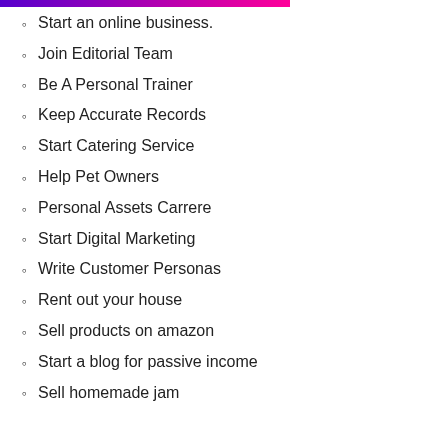Start an online business.
Join Editorial Team
Be A Personal Trainer
Keep Accurate Records
Start Catering Service
Help Pet Owners
Personal Assets Carrere
Start Digital Marketing
Write Customer Personas
Rent out your house
Sell products on amazon
Start a blog for passive income
Sell homemade jam